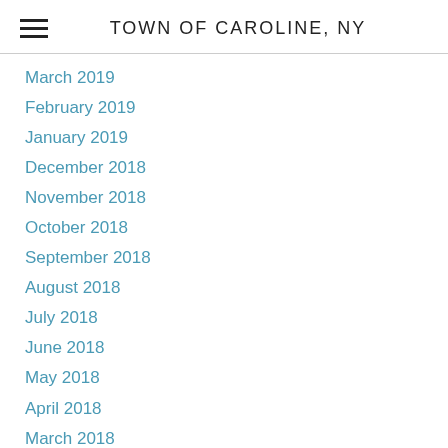TOWN OF CAROLINE, NY
March 2019
February 2019
January 2019
December 2018
November 2018
October 2018
September 2018
August 2018
July 2018
June 2018
May 2018
April 2018
March 2018
February 2018
January 2018
December 2017
November 2017